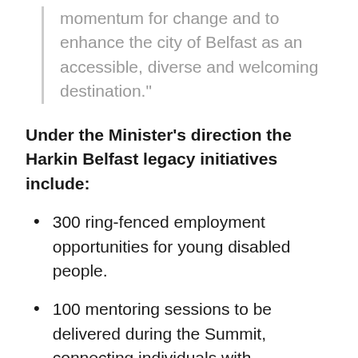momentum for change and to enhance the city of Belfast as an accessible, diverse and welcoming destination."
Under the Minister's direction the Harkin Belfast legacy initiatives include:
300 ring-fenced employment opportunities for young disabled people.
100 mentoring sessions to be delivered during the Summit, connecting individuals with disabilities and senior international leaders.